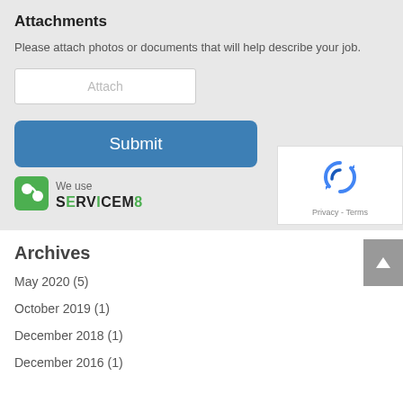Attachments
Please attach photos or documents that will help describe your job.
[Figure (screenshot): Form input field with placeholder text 'Attach']
[Figure (screenshot): Blue rounded Submit button]
[Figure (logo): reCAPTCHA widget with recycle arrows icon and Privacy - Terms links]
[Figure (logo): ServiceM8 logo with green icon and text 'We use SERVICEM8']
Archives
May 2020 (5)
October 2019 (1)
December 2018 (1)
December 2016 (1)